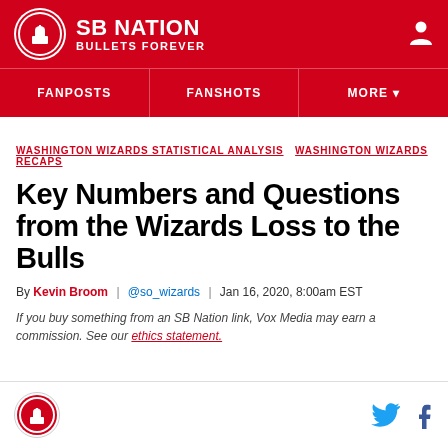SB NATION / BULLETS FOREVER
FANPOSTS  FANSHOTS  MORE
WASHINGTON WIZARDS STATISTICAL ANALYSIS  WASHINGTON WIZARDS RECAPS
Key Numbers and Questions from the Wizards Loss to the Bulls
By Kevin Broom | @so_wizards | Jan 16, 2020, 8:00am EST
If you buy something from an SB Nation link, Vox Media may earn a commission. See our ethics statement.
Bullets Forever logo with Twitter and Facebook social icons